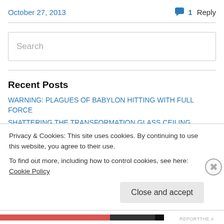October 27, 2013   💬 1 Reply
[Figure (other): Search input box with placeholder text 'Search']
Recent Posts
WARNING: PLAGUES OF BABYLON HITTING WITH FULL FORCE
SHATTERING THE TRANSFORMATION GLASS CEILING
THE SABBATH QUEEN PROVIDES A PLACE OF REST
Privacy & Cookies: This site uses cookies. By continuing to use this website, you agree to their use. To find out more, including how to control cookies, see here: Cookie Policy
Close and accept